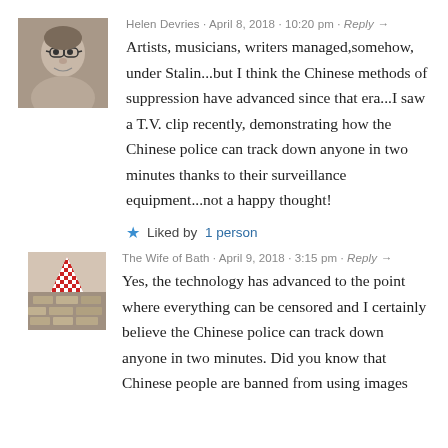[Figure (photo): Avatar photo of Helen Devries, a woman with glasses, grayscale photo]
Helen Devries · April 8, 2018 · 10:20 pm · Reply →
Artists, musicians, writers managed,somehow, under Stalin...but I think the Chinese methods of suppression have advanced since that era...I saw a T.V. clip recently, demonstrating how the Chinese police can track down anyone in two minutes thanks to their surveillance equipment...not a happy thought!
★ Liked by 1 person
[Figure (photo): Avatar photo of The Wife of Bath, red and white checkered pattern image]
The Wife of Bath · April 9, 2018 · 3:15 pm · Reply →
Yes, the technology has advanced to the point where everything can be censored and I certainly believe the Chinese police can track down anyone in two minutes. Did you know that Chinese people are banned from using images